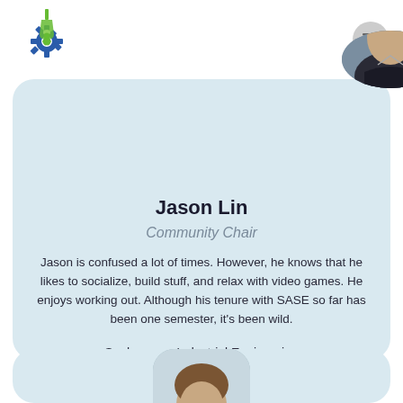[Figure (logo): SASE organization logo: green flask with blue and green circular arrows and gear, stylized science/engineering emblem]
[Figure (photo): Circular profile photo of Jason Lin, a young man in a dark shirt, outdoors]
Jason Lin
Community Chair
Jason is confused a lot of times. However, he knows that he likes to socialize, build stuff, and relax with video games. He enjoys working out. Although his tenure with SASE so far has been one semester, it's been wild.
Sophomore, Industrial Engineering
[Figure (photo): Partial circular profile photo of another person, partially visible at the bottom of the page]